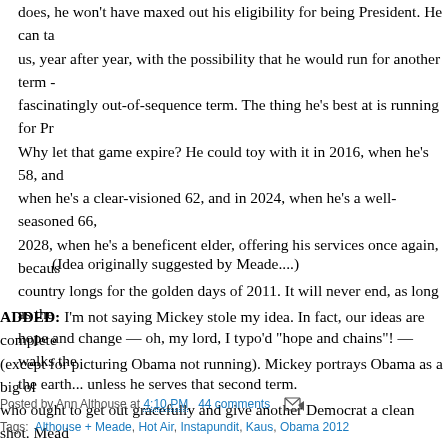does, he won't have maxed out his eligibility for being President. He can ta us, year after year, with the possibility that he would run for another term - fascinatingly out-of-sequence term. The thing he's best at is running for Pr Why let that game expire? He could toy with it in 2016, when he's 58, and when he's a clear-visioned 62, and in 2024, when he's a well-seasoned 66, 2028, when he's a beneficent elder, offering his services once again, becaus country longs for the golden days of 2011. It will never end, as long as the hope and change — oh, my lord, I typo'd "hope and chains"! — walks the the earth... unless he serves that second term.
(Idea originally suggested by Meade....)
ADDED: I'm not saying Mickey stole my idea. In fact, our ideas are complete (except for picturing Obama not running). Mickey portrays Obama as a big ol who ought to get out gracefully and give another Democrat a clean shot. Mead fantasizing from Obama's perspective — what his life really feels like to him a milk the pleasure of being Obama for all it's worth.
Posted by Ann Althouse at 4:10 PM   44 comments
Tags: Althouse + Meade, Hot Air, Instapundit, Kaus, Obama 2012